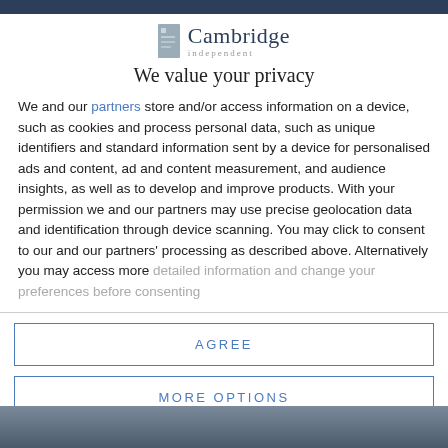[Figure (logo): Cambridge Independent logo with grey rectangle icon and text]
We value your privacy
We and our partners store and/or access information on a device, such as cookies and process personal data, such as unique identifiers and standard information sent by a device for personalised ads and content, ad and content measurement, and audience insights, as well as to develop and improve products. With your permission we and our partners may use precise geolocation data and identification through device scanning. You may click to consent to our and our partners' processing as described above. Alternatively you may access more detailed information and change your preferences before consenting
AGREE
MORE OPTIONS
[Figure (photo): Partial image at bottom of page showing outdoor scene]